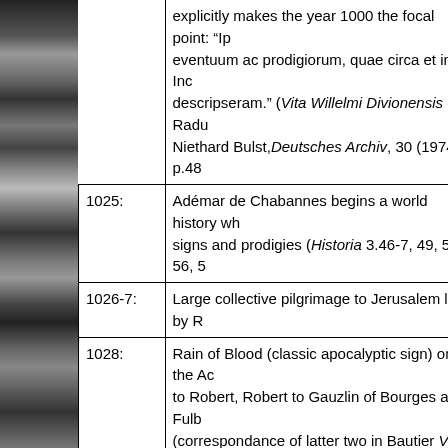| Year | Event/Description |
| --- | --- |
|  | explicitly makes the year 1000 the focal point: "Ip eventuum ac prodigiorum, quae circa et infra Inc descripseram." (Vita Willelmi Divionensis of Radu Niethard Bulst, Deutsches Archiv, 30 (1974), p.48 |
| 1025: | Adémar de Chabannes begins a world history wh signs and prodigies (Historia 3.46-7, 49, 52, 56, 5 |
| 1026-7: | Large collective pilgrimage to Jerusalem led by R |
| 1028: | Rain of Blood (classic apocalyptic sign) on the Ac to Robert, Robert to Gauzlin of Bourges and Fulb (correspondance of latter two in Bautier Vita Gau "Endzeiterwartung," pp.385-87) |
| 1029-
32: | Ademar of Chabannes produces some 500 folios themes play a major role. |